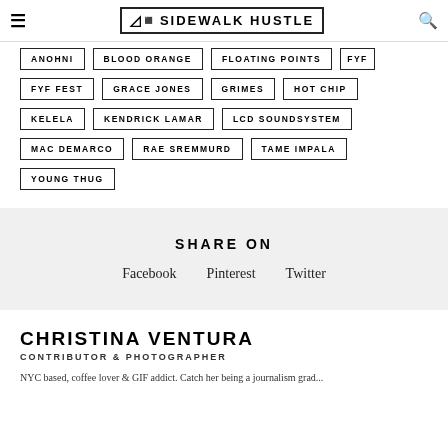SIDEWALK HUSTLE
ANOHNI
BLOOD ORANGE
FLOATING POINTS
FYF
FYF FEST
GRACE JONES
GRIMES
HOT CHIP
KELELA
KENDRICK LAMAR
LCD SOUNDSYSTEM
MAC DEMARCO
RAE SREMMURD
TAME IMPALA
YOUNG THUG
SHARE ON
Facebook   Pinterest   Twitter
CHRISTINA VENTURA
CONTRIBUTOR & PHOTOGRAPHER
NYC based, coffee lover & GIF addict. Catch her being a journalism grad...